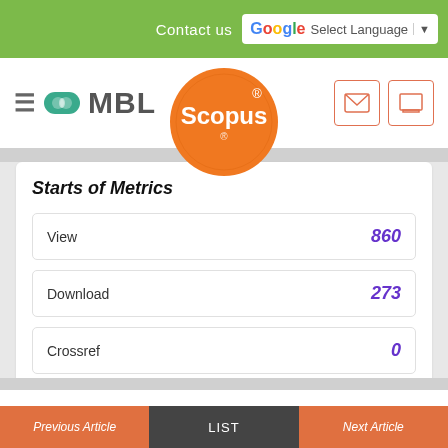Contact us   Select Language
[Figure (logo): MBL journal logo with hamburger menu icon]
[Figure (logo): Scopus indexed badge - orange circular badge]
Starts of Metrics
| Metric | Value |
| --- | --- |
| View | 860 |
| Download | 273 |
| Crossref | 0 |
Previous Article   LIST   Next Article